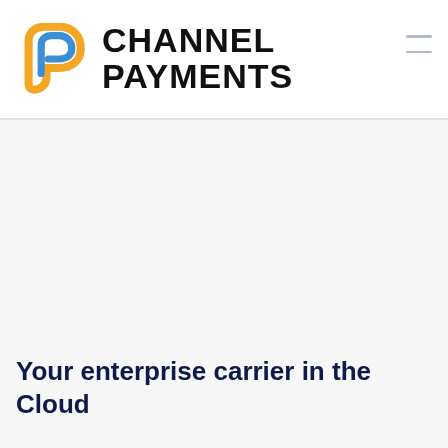[Figure (logo): Channel Payments logo: orange and blue stylized P icon on the left, with bold black text 'CHANNEL PAYMENTS' on the right in two lines]
Your enterprise carrier in the Cloud